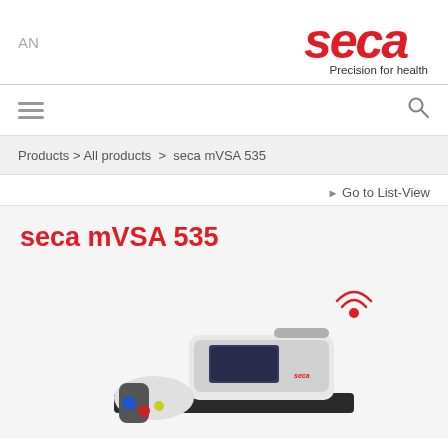AN
[Figure (logo): Seca logo with red italic text 'seca' and tagline 'Precision for health']
Products > All products > seca mVSA 535
▶ Go to List-View
seca mVSA 535
[Figure (photo): Product photo of seca mVSA 535 medical vital signs analyzer device, white and black unit with display screen, cables, and wireless connectivity icon]